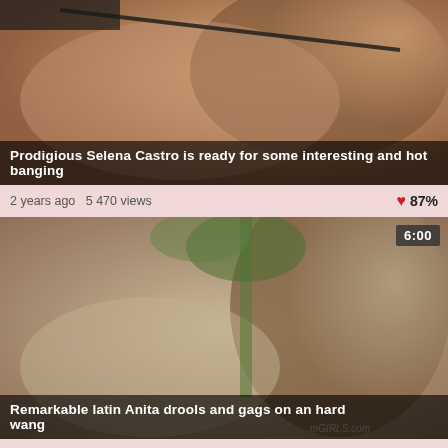[Figure (photo): Video thumbnail showing adult content - Selena Castro]
Prodigious Selena Castro is ready for some interesting and hot banging
2 years ago  5 470 views   ♥ 87%
[Figure (photo): Video thumbnail showing adult content - latin Anita, duration 6:00]
Remarkable latin Anita drools and gags on an hard wang
2 years ago  6 255 views   ♥ 99%
[Figure (photo): Video thumbnail partial - third video, duration 6:00]